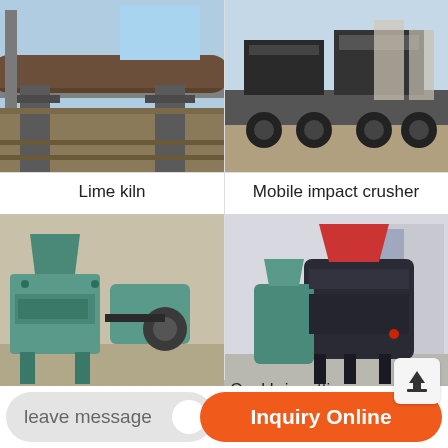[Figure (photo): Lime kiln industrial equipment - large rotary kiln cylinder mounted on supports at an industrial facility]
Lime kiln
[Figure (photo): Mobile impact crusher - large heavy machinery on flatbed transport vehicle]
Mobile impact crusher
[Figure (photo): High pressure briquetting machine - teal/green colored industrial briquette press machinery]
High pressure briquetti...
[Figure (photo): Coal briquetting machine - dark grey industrial briquetting machine in factory setting]
Coal briquetting machine
leave message
Inquiry Online